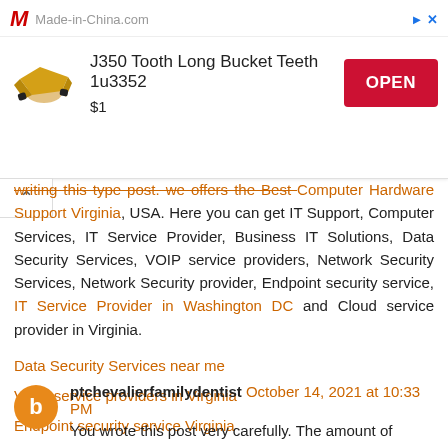[Figure (other): Advertisement banner for Made-in-China.com showing J350 Tooth Long Bucket Teeth 1u3352 product at $1 with an OPEN button]
writing this type post. we offers the Best Computer Hardware Support Virginia, USA. Here you can get IT Support, Computer Services, IT Service Provider, Business IT Solutions, Data Security Services, VOIP service providers, Network Security Services, Network Security provider, Endpoint security service, IT Service Provider in Washington DC and Cloud service provider in Virginia.
Data Security Services near me
VOIP service providers in Virginia
Endpoint security service Virginia
Cloud service provider near me
Reply
ptchevalierfamilydentist October 14, 2021 at 10:33 PM
You wrote this post very carefully. The amount of